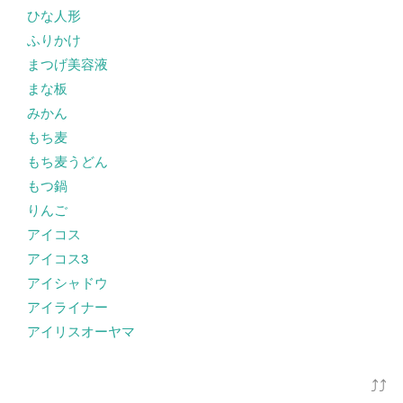ひな人形
ふりかけ
まつげ美容液
まな板
みかん
もち麦
もち麦うどん
もつ鍋
りんご
アイコス
アイコス3
アイシャドウ
アイライナー
アイリスオーヤマ